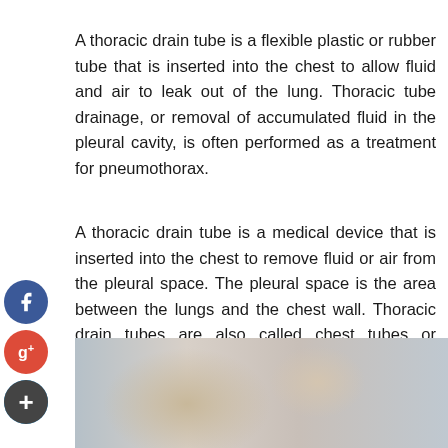A thoracic drain tube is a flexible plastic or rubber tube that is inserted into the chest to allow fluid and air to leak out of the lung. Thoracic tube drainage, or removal of accumulated fluid in the pleural cavity, is often performed as a treatment for pneumothorax.
A thoracic drain tube is a medical device that is inserted into the chest to remove fluid or air from the pleural space. The pleural space is the area between the lungs and the chest wall. Thoracic drain tubes are also called chest tubes or intercostal drains. If you are interested in the placement of a thoracic drain tube, then you must schedule an appointment with clicking here.
[Figure (photo): A blurred photograph showing what appears to be a medical professional or patient, partially visible at the bottom of the page.]